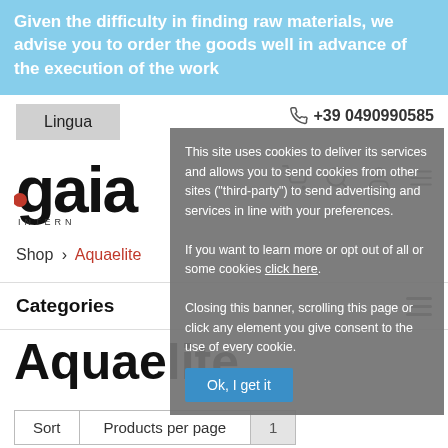Given the difficulty in finding raw materials, we advise you to order the goods well in advance of the execution of the work
Lingua
+39 0490990585
[Figure (logo): Gaia International logo with red dot]
This site uses cookies to deliver its services and allows you to send cookies from other sites ("third-party") to send advertising and services in line with your preferences. If you want to learn more or opt out of all or some cookies click here. Closing this banner, scrolling this page or click any element you give consent to the use of every cookie.
Ok, I get it
Shop > Aquaelite
Categories
Aquaelite
Sort | Products per page | 1